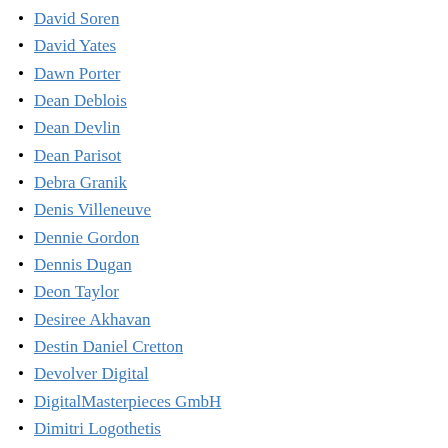David Soren
David Yates
Dawn Porter
Dean Deblois
Dean Devlin
Dean Parisot
Debra Granik
Denis Villeneuve
Dennie Gordon
Dennis Dugan
Deon Taylor
Desiree Akhavan
Destin Daniel Cretton
Devolver Digital
DigitalMasterpieces GmbH
Dimitri Logothetis
Dinesh D'Souza, Bruce Schooley & Debbie D'souza
Documentary